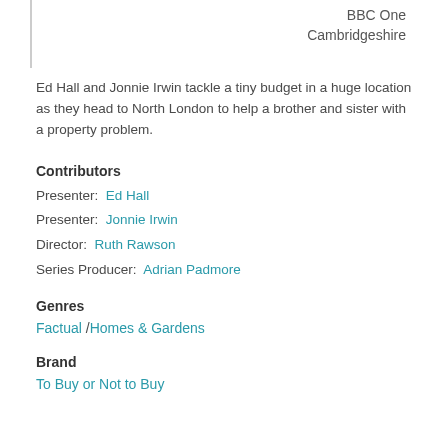BBC One Cambridgeshire
Ed Hall and Jonnie Irwin tackle a tiny budget in a huge location as they head to North London to help a brother and sister with a property problem.
Contributors
Presenter:  Ed Hall
Presenter:  Jonnie Irwin
Director:  Ruth Rawson
Series Producer:  Adrian Padmore
Genres
Factual /Homes & Gardens
Brand
To Buy or Not to Buy